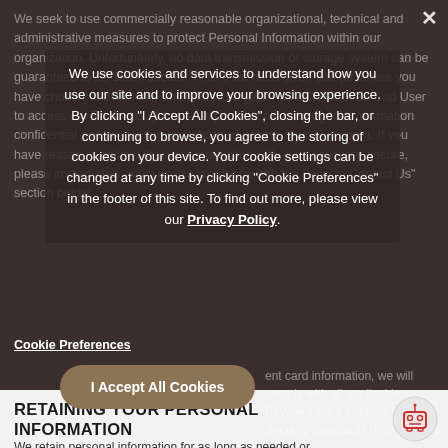We seek to use commercially reasonable organizational, technical and administrative measures to protect Personal Information within our organization. Unfortunately, no data transmission or storage system can be guaranteed to be 100% secure. Where we have given you (or where you have chosen) a username and password (other as a Client or an End User to access our Platforms, you are responsible for keeping this information confidential and preventing unauthorized access to your account. If you have reason to believe that your interaction with us is no longer secure, please immediately notify us in accordance with the "How to Contact Us" section below.
We use cookies and services to understand how you use our site and to improve your browsing experience. By clicking "I Accept All Cookies", closing the bar, or continuing to browse, you agree to the storing of cookies on your device. Your cookie settings can be changed at any time by clicking "Cookie Preferences" in the footer of this site. To find out more, please view our Privacy Policy.
Cookie Preferences
I Accept All Cookies
W ent card information, we will comply with all applicable Payment Card Industry Data Security Standards (PCI-DSS).
RETAINING YOUR PERSONAL INFORMATION
We retain personal information for as long as needed or permitted in light of the purpose(s) for which they were retained.